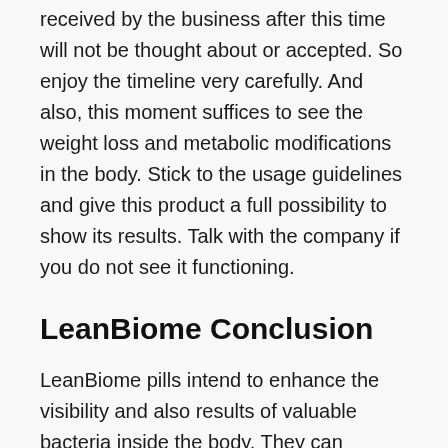100 days after acquiring the item. The demands received by the business after this time will not be thought about or accepted. So enjoy the timeline very carefully. And also, this moment suffices to see the weight loss and metabolic modifications in the body. Stick to the usage guidelines and give this product a full possibility to show its results. Talk with the company if you do not see it functioning.
LeanBiome Conclusion
LeanBiome pills intend to enhance the visibility and also results of valuable bacteria inside the body. They can improve food absorption, digestion, as well as application to create power, with no fat build-up to make the body overweight. This is a